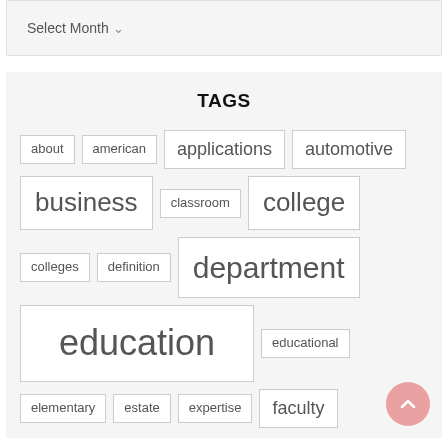Select Month
TAGS
about
american
applications
automotive
business
classroom
college
colleges
definition
department
education
educational
elementary
estate
expertise
faculty